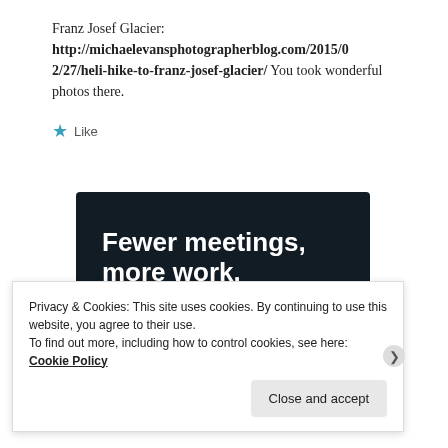Franz Josef Glacier: http://michaelevansphotographerblog.com/2015/02/27/heli-hike-to-franz-josef-glacier/ You took wonderful photos there.
★ Like
[Figure (infographic): Dark navy advertisement banner with white bold text reading 'Fewer meetings, more work.' and a button 'Get started for free']
Privacy & Cookies: This site uses cookies. By continuing to use this website, you agree to their use. To find out more, including how to control cookies, see here: Cookie Policy
Close and accept